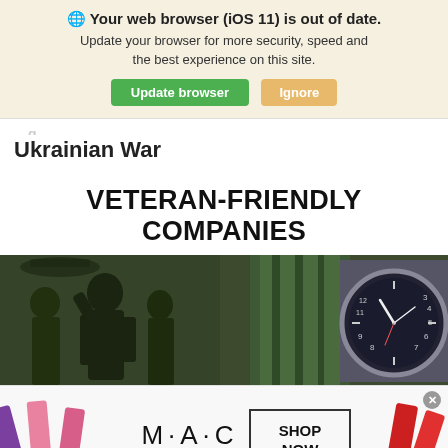🌐 Your web browser (iOS 11) is out of date. Update your browser for more security, speed and the best experience on this site. [Update browser] [Ignore]
Ukrainian War
VETERAN-FRIENDLY COMPANIES
[Figure (photo): Military soldiers in black and white on left, close-up of a military-style watch with green NATO strap on right, against dark olive green background]
[Figure (photo): MAC cosmetics advertisement showing lipsticks in purple, pink, and red, MAC logo, and a SHOP NOW call-to-action box]